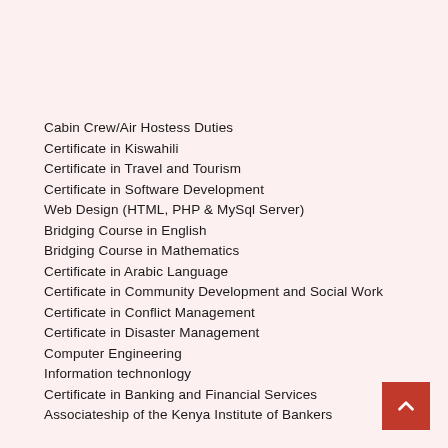Cabin Crew/Air Hostess Duties
Certificate in Kiswahili
Certificate in Travel and Tourism
Certificate in Software Development
Web Design (HTML, PHP & MySql Server)
Bridging Course in English
Bridging Course in Mathematics
Certificate in Arabic Language
Certificate in Community Development and Social Work
Certificate in Conflict Management
Certificate in Disaster Management
Computer Engineering
Information technonlogy
Certificate in Banking and Financial Services
Associateship of the Kenya Institute of Bankers